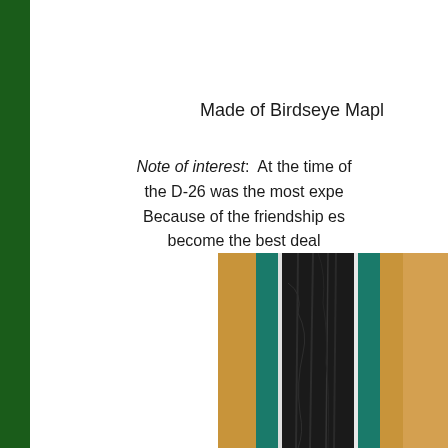Made of Birdseye Maple
Note of interest:  At the time of the D-26 was the most expe Because of the friendship es become the best deal
[Figure (photo): Close-up photograph of a billiard cue showing vertical stripes of teal/green, black textured grip, and natural maple wood]